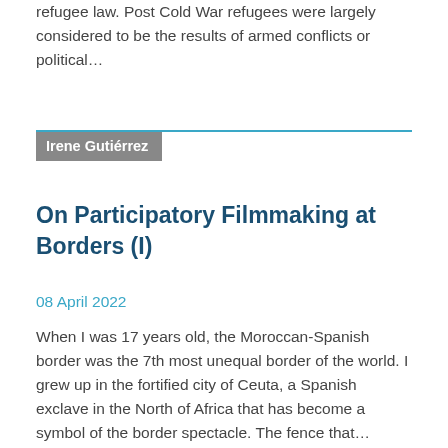refugee law. Post Cold War refugees were largely considered to be the results of armed conflicts or political…
Irene Gutiérrez
On Participatory Filmmaking at Borders (I)
08 April 2022
When I was 17 years old, the Moroccan-Spanish border was the 7th most unequal border of the world. I grew up in the fortified city of Ceuta, a Spanish exclave in the North of Africa that has become a symbol of the border spectacle. The fence that…